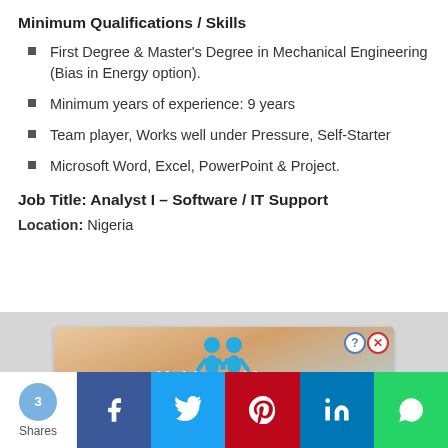Minimum Qualifications / Skills
First Degree & Master's Degree in Mechanical Engineering (Bias in Energy option).
Minimum years of experience: 9 years
Team player, Works well under Pressure, Self-Starter
Microsoft Word, Excel, PowerPoint & Project.
Job Title: Analyst I – Software / IT Support
Location: Nigeria
[Figure (other): Advertisement banner with 'Hold and Move' text and cartoon figures on a wooden background]
3 Shares — Social share buttons: Facebook, Twitter, Pinterest, LinkedIn, WhatsApp